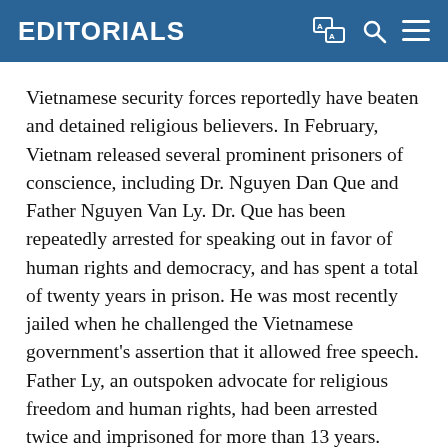EDITORIALS
Vietnamese security forces reportedly have beaten and detained religious believers. In February, Vietnam released several prominent prisoners of conscience, including Dr. Nguyen Dan Que and Father Nguyen Van Ly. Dr. Que has been repeatedly arrested for speaking out in favor of human rights and democracy, and has spent a total of twenty years in prison. He was most recently jailed when he challenged the Vietnamese government’s assertion that it allowed free speech. Father Ly, an outspoken advocate for religious freedom and human rights, had been arrested twice and imprisoned for more than 13 years.
The United States has welcomed their release and urges the Government of Vietnam to grant amnesty to